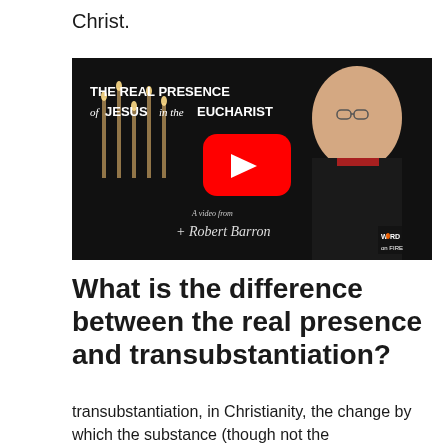Christ.
[Figure (screenshot): YouTube video thumbnail titled 'THE REAL PRESENCE of JESUS in the EUCHARIST' featuring a bishop in black vestments with a red YouTube play button overlay. Signed 'A video from + Robert Barron' with Word on Fire logo.]
What is the difference between the real presence and transubstantiation?
transubstantiation, in Christianity, the change by which the substance (though not the appearance...) of the bread and wine in the